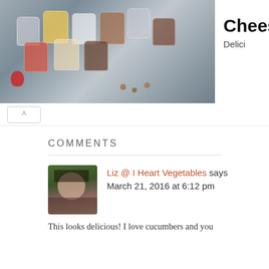[Figure (photo): Advertisement banner showing cheesecakes in jars on a dark surface with strawberries and nuts, with title 'Cheesecakes', subtitle 'Delici', and a 'See More' button]
COMMENTS
Liz @ I Heart Vegetables says
March 21, 2016 at 6:12 pm
[Figure (photo): Avatar photo of a woman with dark hair and bangs, smiling]
This looks delicious! I love cucumbers and you